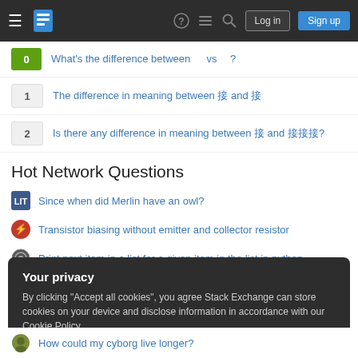Stack Exchange navigation header with Log in and Sign up buttons
What's the difference between [Japanese] vs [Japanese]?
The difference in meaning between [Japanese] and [Japanese]
Is there any difference in meaning between [Japanese] and [Japanese]?
Hot Network Questions
Since when did Merlin have an owl?
Transistor biasing without emitter and collector resistor
Print next item in a list for a given item in the list in python
How to detect if a Unicode character has been defined?
Your privacy
By clicking "Accept all cookies", you agree Stack Exchange can store cookies on your device and disclose information in accordance with our Cookie Policy.
How could my cyborg live longer?